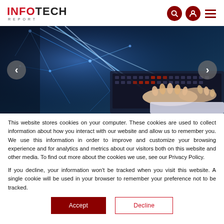INFOTECH REPORT
[Figure (photo): Person typing on a laptop keyboard with blue digital network lines overlaid, technology/data concept hero image with left and right carousel navigation buttons]
This website stores cookies on your computer. These cookies are used to collect information about how you interact with our website and allow us to remember you. We use this information in order to improve and customize your browsing experience and for analytics and metrics about our visitors both on this website and other media. To find out more about the cookies we use, see our Privacy Policy.
If you decline, your information won't be tracked when you visit this website. A single cookie will be used in your browser to remember your preference not to be tracked.
Accept   Decline